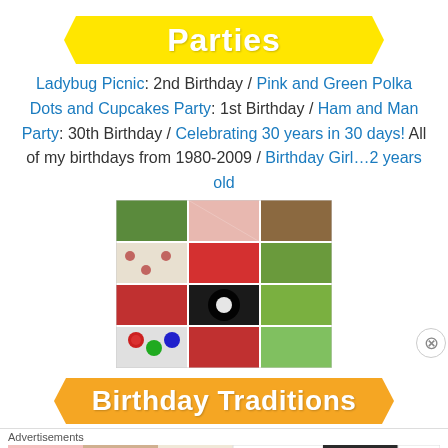Parties
Ladybug Picnic: 2nd Birthday / Pink and Green Polka Dots and Cupcakes Party: 1st Birthday / Ham and Man Party: 30th Birthday / Celebrating 30 years in 30 days! All of my birthdays from 1980-2009 / Birthday Girl…2 years old
[Figure (photo): Photo collage of ladybug-themed party items: red checkered tablecloths, ladybug decorations, cupcakes, balloons, and party table setups in a 3x4 grid of images]
Birthday Traditions
[Figure (photo): Advertisement banner showing Ulta Beauty makeup products — lips with red lipstick, makeup brush, eye makeup, Ulta logo, model eyes, and SHOP NOW text]
Advertisements